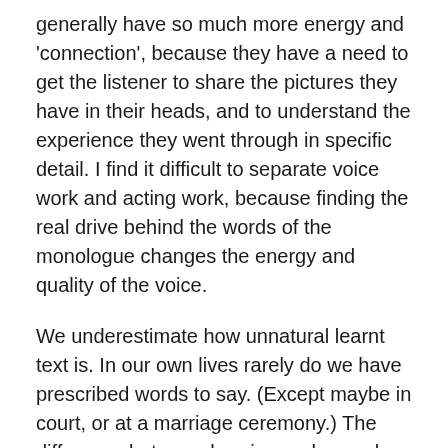generally have so much more energy and 'connection', because they have a need to get the listener to share the pictures they have in their heads, and to understand the experience they went through in specific detail. I find it difficult to separate voice work and acting work, because finding the real drive behind the words of the monologue changes the energy and quality of the voice.
We underestimate how unnatural learnt text is. In our own lives rarely do we have prescribed words to say. (Except maybe in court, or at a marriage ceremony.) The difference between hearing real speech and learned lines can be striking. The energy is generally much lower on text. Often actors let their breath out before speaking with learned responses. So many actors do it. It is a way to calm themselves and put off the moment of speaking words that aren't their own. To give themselves one more